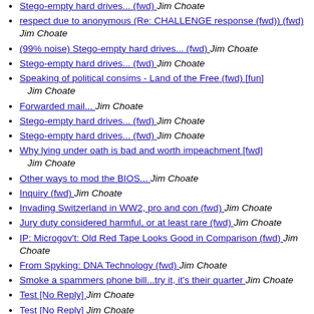Stego-empty hard drives... (fwd)  Jim Choate
respect due to anonymous (Re: CHALLENGE response (fwd)) (fwd)  Jim Choate
(99% noise) Stego-empty hard drives... (fwd)  Jim Choate
Stego-empty hard drives... (fwd)  Jim Choate
Speaking of political consims - Land of the Free (fwd) [fun]  Jim Choate
Forwarded mail...  Jim Choate
Stego-empty hard drives... (fwd)  Jim Choate
Stego-empty hard drives... (fwd)  Jim Choate
Why lying under oath is bad and worth impeachment [fwd]  Jim Choate
Other ways to mod the BIOS...  Jim Choate
Inquiry (fwd)  Jim Choate
Invading Switzerland in WW2, pro and con (fwd)  Jim Choate
Jury duty considered harmful, or at least rare (fwd)  Jim Choate
IP: Microgov't: Old Red Tape Looks Good in Comparison (fwd)  Jim Choate
From Spyking: DNA Technology (fwd)  Jim Choate
Smoke a spammers phone bill...try it, it's their quarter  Jim Choate
Test [No Reply]  Jim Choate
Test [No Reply]  Jim Choate
Test [no reply] (should be okay)  Jim Choate